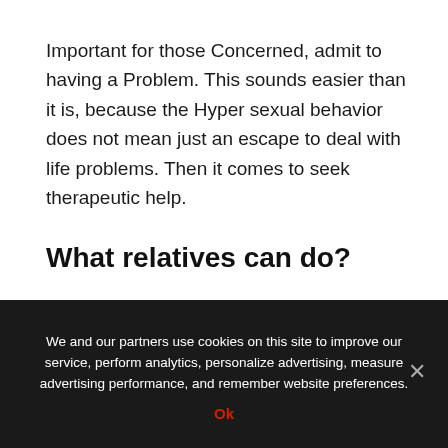Important for those Concerned, admit to having a Problem. This sounds easier than it is, because the Hyper sexual behavior does not mean just an escape to deal with life problems. Then it comes to seek therapeutic help.
What relatives can do?
Members should talk openly with stakeholders about the Problem and the behavior condemn neither moral
We and our partners use cookies on this site to improve our service, perform analytics, personalize advertising, measure advertising performance, and remember website preferences. Ok